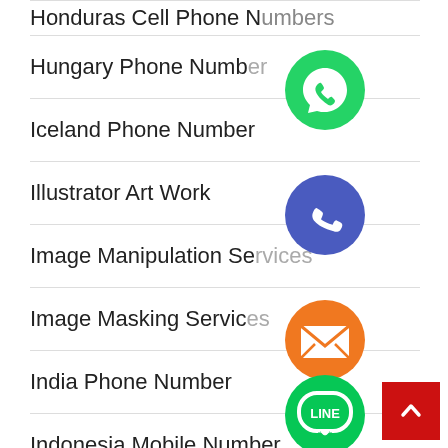Honduras Cell Phone Numbers
Hungary Phone Number
Iceland Phone Number
Illustrator Art Work
Image Manipulation Se...
Image Masking Servic...
India Phone Number
Indonesia Mobile Number
Israel Phone Number